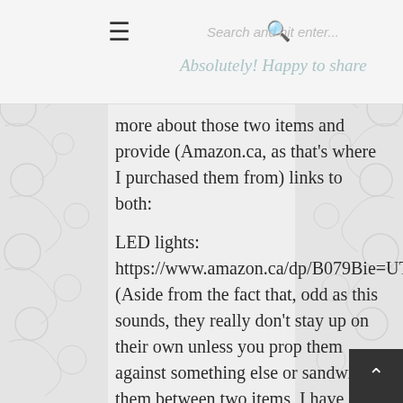Search and hit enter... | Absolutely! Happy to share
more about those two items and provide (Amazon.ca, as that's where I purchased them from) links to both:
LED lights: https://www.amazon.ca/dp/B079Bie=UTF8&linkCode=gs2&tag=nosea20 (Aside from the fact that, odd as this sounds, they really don't stay up on their own unless you prop them against something else or sandwich them between two items, I have zero negatives to say thus far and am really happy with this purchase.)